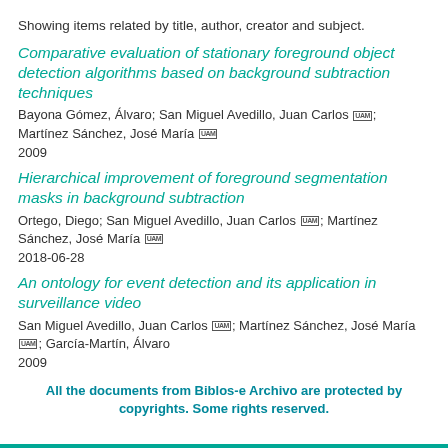Showing items related by title, author, creator and subject.
Comparative evaluation of stationary foreground object detection algorithms based on background subtraction techniques
Bayona Gómez, Álvaro; San Miguel Avedillo, Juan Carlos [UAM]; Martínez Sánchez, José María [UAM]
2009
Hierarchical improvement of foreground segmentation masks in background subtraction
Ortego, Diego; San Miguel Avedillo, Juan Carlos [UAM]; Martínez Sánchez, José María [UAM]
2018-06-28
An ontology for event detection and its application in surveillance video
San Miguel Avedillo, Juan Carlos [UAM]; Martínez Sánchez, José María [UAM]; García-Martín, Álvaro
2009
All the documents from Biblos-e Archivo are protected by copyrights. Some rights reserved.